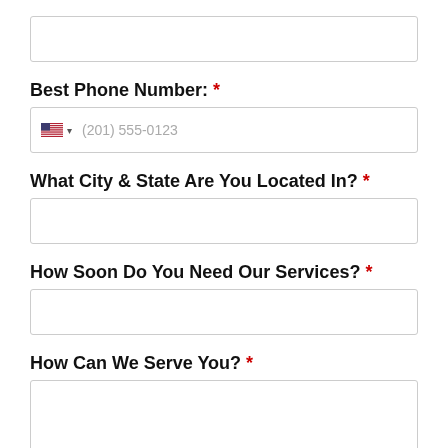[Figure (screenshot): Empty text input field at top of form]
Best Phone Number: *
[Figure (screenshot): Phone number input field with US flag, dropdown arrow, and placeholder (201) 555-0123]
What City & State Are You Located In? *
[Figure (screenshot): Empty text input field for city and state]
How Soon Do You Need Our Services? *
[Figure (screenshot): Empty text input field for timeline]
How Can We Serve You? *
[Figure (screenshot): Large empty textarea for service description]